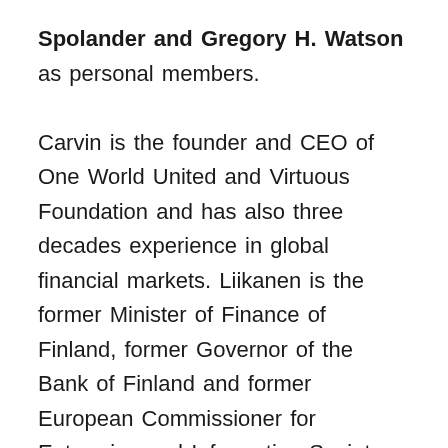Spolander and Gregory H. Watson as personal members.

Carvin is the founder and CEO of One World United and Virtuous Foundation and has also three decades experience in global financial markets. Liikanen is the former Minister of Finance of Finland, former Governor of the Bank of Finland and former European Commissioner for Enterprise and Information Society and Budget and Administration. Shevgaonkar is the Founder of Cool The Globe initiative. Spolander is Director General, Ministry of Finance, Finland. Watson is the Chairman, Business